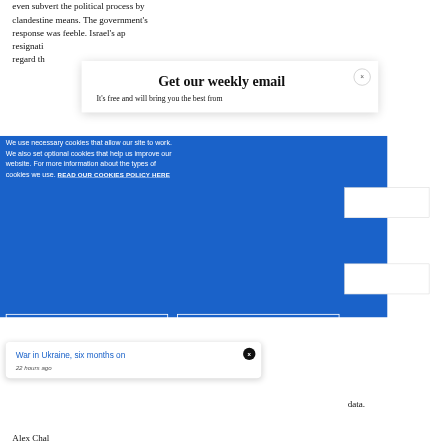even subvert the political process by clandestine means. The government's response was feeble. Israel's ap… resignati… regard th…
Get our weekly email
It's free and will bring you the best from
We use necessary cookies that allow our site to work. We also set optional cookies that help us improve our website. For more information about the types of cookies we use. READ OUR COOKIES POLICY HERE
COOKIE
ALLOW
War in Ukraine, six months on
22 hours ago
data.
Alex Chal